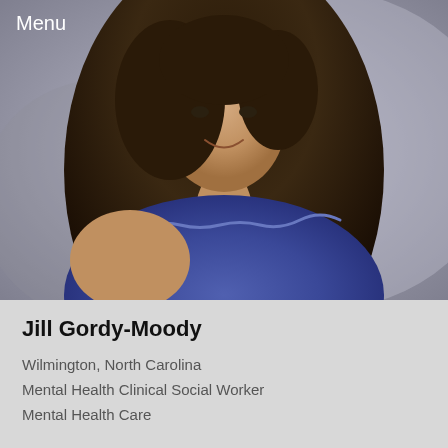Menu
[Figure (photo): Portrait photo of a young woman with long dark brown hair, smiling, wearing a blue lace top, against a light grey outdoor background.]
Jill Gordy-Moody
Wilmington, North Carolina
Mental Health Clinical Social Worker
Mental Health Care